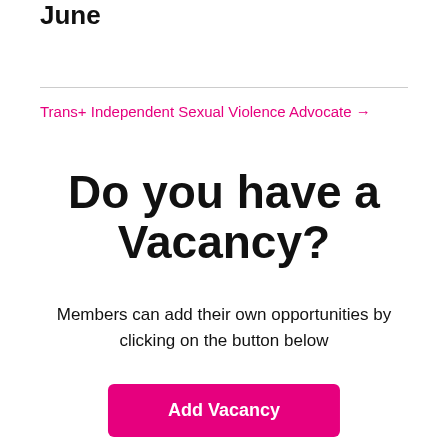June
Trans+ Independent Sexual Violence Advocate →
Do you have a Vacancy?
Members can add their own opportunities by clicking on the button below
Add Vacancy